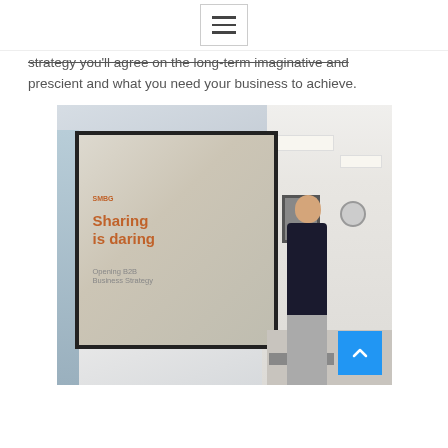[hamburger menu icon]
strategy you'll agree on the long-term imaginative and prescient and what you need your business to achieve.
[Figure (photo): A woman presenter standing in front of a projected presentation screen in a modern office meeting room. The screen displays 'Sharing is daring' text in orange along with 'SMBG' branding and additional small text. The room has ceiling lights, a clock on the wall, a framed picture, and office furniture visible in the background.]